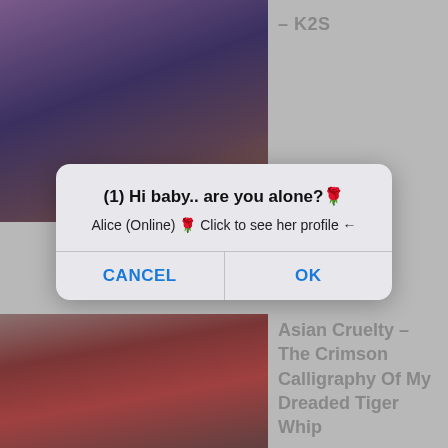[Figure (photo): Partial photo of a person in a blue/purple outfit against a dark background, top left]
– K2S
[Figure (screenshot): Mobile dialog box with title '(1) Hi baby.. are you alone?🌹', subtitle 'Alice (Online) 🌹 Click to see her profile ←', and CANCEL / OK buttons]
[Figure (photo): Photo of a young woman in a white outfit against a red background, bottom left]
Asian Cruelty – The Crimson Calligraphy Of My Dreaded Tiger Whip